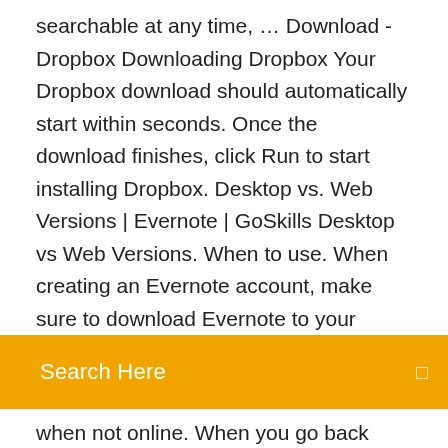searchable at any time, … Download - Dropbox Downloading Dropbox Your Dropbox download should automatically start within seconds. Once the download finishes, click Run to start installing Dropbox. Desktop vs. Web Versions | Evernote | GoSkills Desktop vs Web Versions. When to use. When creating an Evernote account, make sure to download Evernote to your
[Figure (other): Search bar with orange background and text 'Search Here' with a small icon on the right]
when not online. When you go back online, your notes will be synchronized, with a copy in the cloud and
Import notes from Evernote into OneNote 2016 for …
Télécharger EverNote pour Windows : téléchargement gratuit Version 5 : Pour sa version 5, Evernote pour Windows voit son interface remodelée et plus conforme à ce que les utilisateurs sous OS X pouvaient déjà apprécier : ergonomie améliorée par son Evernote Download (2020 Latest) for Windows 10, 8, 7 Evernote is the software that keeps your notes organized for